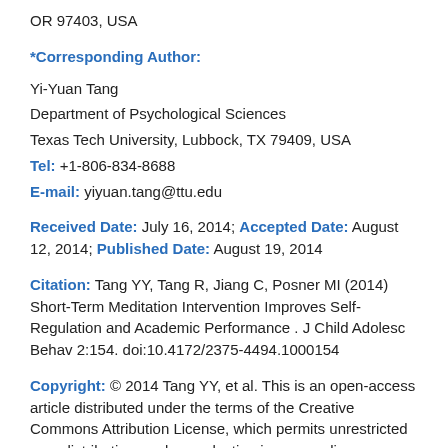OR 97403, USA
*Corresponding Author:
Yi-Yuan Tang
Department of Psychological Sciences
Texas Tech University, Lubbock, TX 79409, USA
Tel: +1-806-834-8688
E-mail: yiyuan.tang@ttu.edu
Received Date: July 16, 2014; Accepted Date: August 12, 2014; Published Date: August 19, 2014
Citation: Tang YY, Tang R, Jiang C, Posner MI (2014) Short-Term Meditation Intervention Improves Self-Regulation and Academic Performance . J Child Adolesc Behav 2:154. doi:10.4172/2375-4494.1000154
Copyright: © 2014 Tang YY, et al. This is an open-access article distributed under the terms of the Creative Commons Attribution License, which permits unrestricted use, distribution, and reproduction in any medium,